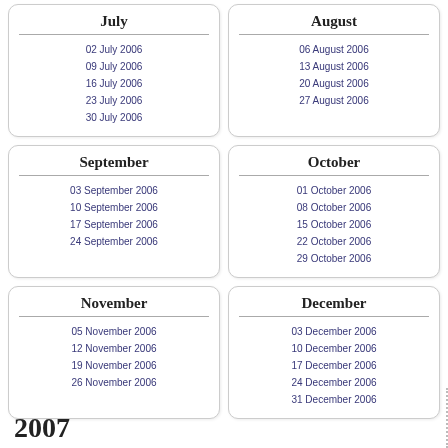July
02 July 2006
09 July 2006
16 July 2006
23 July 2006
30 July 2006
August
06 August 2006
13 August 2006
20 August 2006
27 August 2006
September
03 September 2006
10 September 2006
17 September 2006
24 September 2006
October
01 October 2006
08 October 2006
15 October 2006
22 October 2006
29 October 2006
November
05 November 2006
12 November 2006
19 November 2006
26 November 2006
December
03 December 2006
10 December 2006
17 December 2006
24 December 2006
31 December 2006
2007